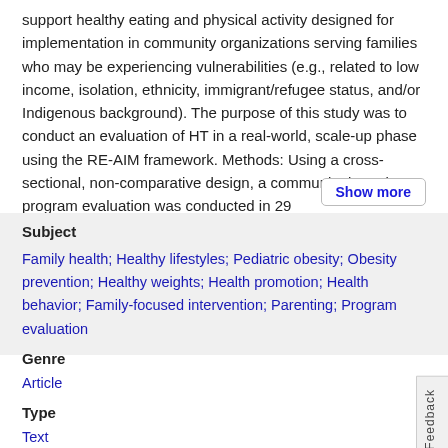support healthy eating and physical activity designed for implementation in community organizations serving families who may be experiencing vulnerabilities (e.g., related to low income, isolation, ethnicity, immigrant/refugee status, and/or Indigenous background). The purpose of this study was to conduct an evaluation of HT in a real-world, scale-up phase using the RE-AIM framework. Methods: Using a cross-sectional, non-comparative design, a community-based program evaluation was conducted in 29
Show more
Subject
Family health; Healthy lifestyles; Pediatric obesity; Obesity prevention; Healthy weights; Health promotion; Health behavior; Family-focused intervention; Parenting; Program evaluation
Genre
Article
Type
Text